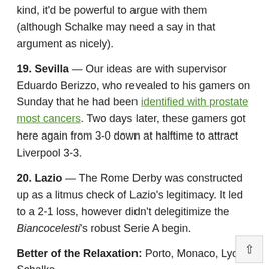kind, it'd be powerful to argue with them (although Schalke may need a say in that argument as nicely).
19. Sevilla — Our ideas are with supervisor Eduardo Berizzo, who revealed to his gamers on Sunday that he had been identified with prostate most cancers. Two days later, these gamers got here again from 3-0 down at halftime to attract Liverpool 3-3.
20. Lazio — The Rome Derby was constructed up as a litmus check of Lazio's legitimacy. It led to a 2-1 loss, however didn't delegitimize the Biancocelesti's robust Serie A begin.
Better of the Relaxation: Porto, Monaco, Lyon, Schalke
– – – – – – –